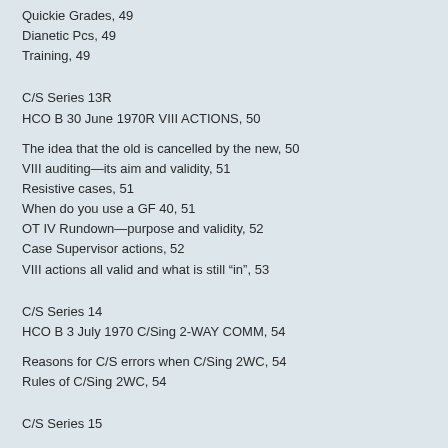Quickie Grades, 49
Dianetic Pcs, 49
Training, 49
C/S Series 13R
HCO B 30 June 1970R VIII ACTIONS, 50
The idea that the old is cancelled by the new, 50
VIII auditing—its aim and validity, 51
Resistive cases, 51
When do you use a GF 40, 51
OT IV Rundown—purpose and validity, 52
Case Supervisor actions, 52
VIII actions all valid and what is still “in”, 53
C/S Series 14
HCO B 3 July 1970 C/Sing 2-WAY COMM, 54
Reasons for C/S errors when C/Sing 2WC, 54
Rules of C/Sing 2WC, 54
C/S Series 15